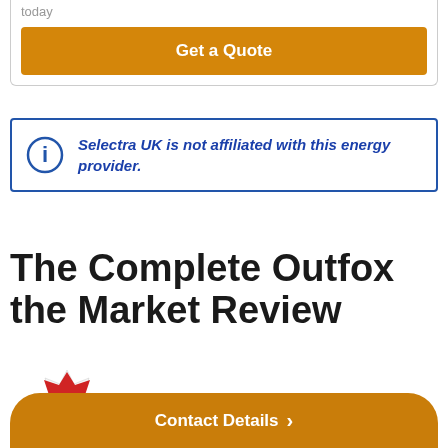today
Get a Quote
Selectra UK is not affiliated with this energy provider.
The Complete Outfox the Market Review
[Figure (logo): Outfox the Market logo — red starburst with OUTFOX! and THE MARKET text]
Contact Details